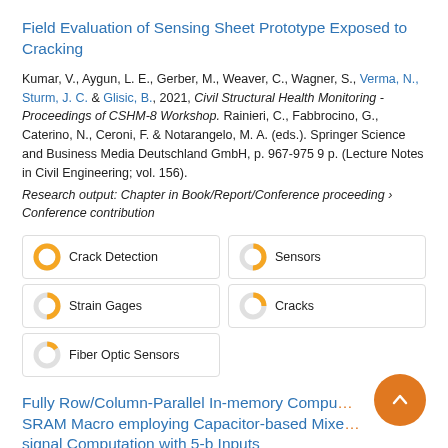Field Evaluation of Sensing Sheet Prototype Exposed to Cracking
Kumar, V., Aygun, L. E., Gerber, M., Weaver, C., Wagner, S., Verma, N., Sturm, J. C. & Glisic, B., 2021, Civil Structural Health Monitoring - Proceedings of CSHM-8 Workshop. Rainieri, C., Fabbrocino, G., Caterino, N., Ceroni, F. & Notarangelo, M. A. (eds.). Springer Science and Business Media Deutschland GmbH, p. 967-975 9 p. (Lecture Notes in Civil Engineering; vol. 156).
Research output: Chapter in Book/Report/Conference proceeding › Conference contribution
[Figure (infographic): Five keyword badges arranged in a 2-column grid with donut/pie icons indicating relevance percentages: Crack Detection (100%), Sensors (~50%), Strain Gages (~50%), Cracks (~25%), Fiber Optic Sensors (~15%)]
Fully Row/Column-Parallel In-memory Computation SRAM Macro employing Capacitor-based Mixed-signal Computation with 5-b Inputs